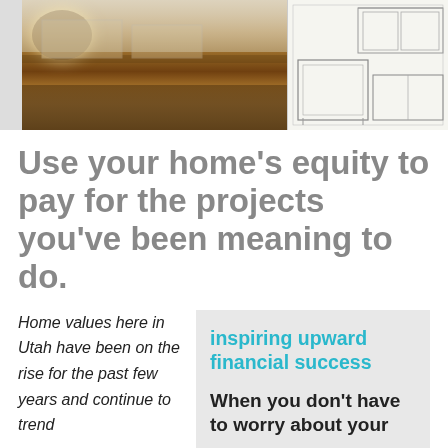[Figure (photo): Kitchen interior photo on the left showing renovated kitchen with granite countertops and hardwood floors, and a pencil sketch/blueprint of a kitchen on the right]
Use your home’s equity to pay for the projects you’ve been meaning to do.
Home values here in Utah have been on the rise for the past few years and continue to trend
inspiring upward financial success
When you don’t have to worry about your